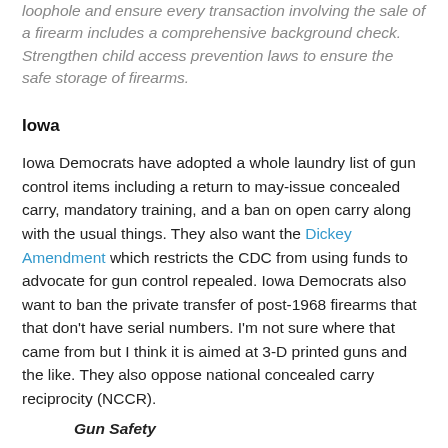loophole and ensure every transaction involving the sale of a firearm includes a comprehensive background check. Strengthen child access prevention laws to ensure the safe storage of firearms.
Iowa
Iowa Democrats have adopted a whole laundry list of gun control items including a return to may-issue concealed carry, mandatory training, and a ban on open carry along with the usual things. They also want the Dickey Amendment which restricts the CDC from using funds to advocate for gun control repealed. Iowa Democrats also want to ban the private transfer of post-1968 firearms that that don't have serial numbers. I'm not sure where that came from but I think it is aimed at 3-D printed guns and the like. They also oppose national concealed carry reciprocity (NCCR).
Gun Safety